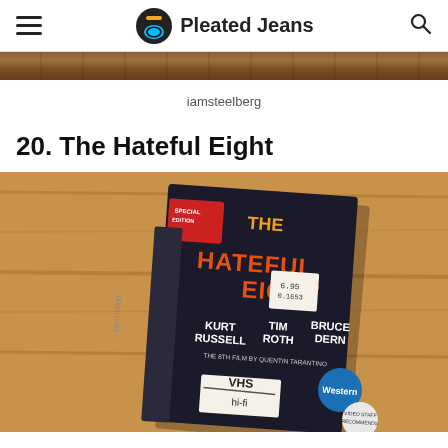Pleated Jeans
iamsteelberg
20. The Hateful Eight
[Figure (photo): A VHS tape box for The Hateful Eight movie, showing Kurt Russell, Tim Roth, Bruce Dern listed on the cover, with VHS hi-fi label, placed on a wooden surface]